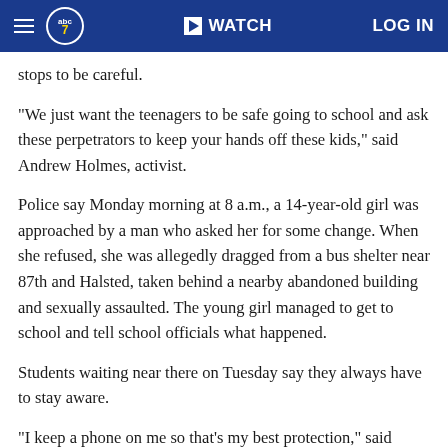abc7 | WATCH | LOG IN
stops to be careful.
"We just want the teenagers to be safe going to school and ask these perpetrators to keep your hands off these kids," said Andrew Holmes, activist.
Police say Monday morning at 8 a.m., a 14-year-old girl was approached by a man who asked her for some change. When she refused, she was allegedly dragged from a bus shelter near 87th and Halsted, taken behind a nearby abandoned building and sexually assaulted. The young girl managed to get to school and tell school officials what happened.
Students waiting near there on Tuesday say they always have to stay aware.
"I keep a phone on me so that's my best protection," said